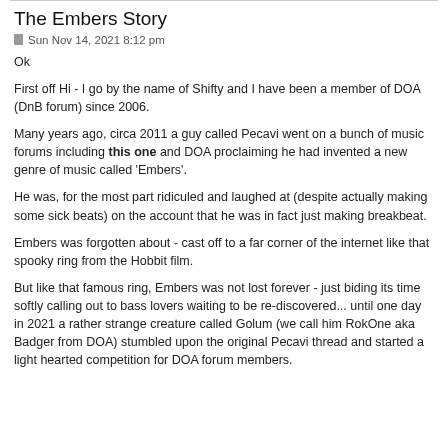The Embers Story
Sun Nov 14, 2021 8:12 pm
Ok
First off Hi - I go by the name of Shifty and I have been a member of DOA (DnB forum) since 2006.
Many years ago, circa 2011 a guy called Pecavi went on a bunch of music forums including this one and DOA proclaiming he had invented a new genre of music called 'Embers'.
He was, for the most part ridiculed and laughed at (despite actually making some sick beats) on the account that he was in fact just making breakbeat.
Embers was forgotten about - cast off to a far corner of the internet like that spooky ring from the Hobbit film.
But like that famous ring, Embers was not lost forever - just biding its time softly calling out to bass lovers waiting to be re-discovered... until one day in 2021 a rather strange creature called Golum (we call him RokOne aka Badger from DOA) stumbled upon the original Pecavi thread and started a light hearted competition for DOA forum members.